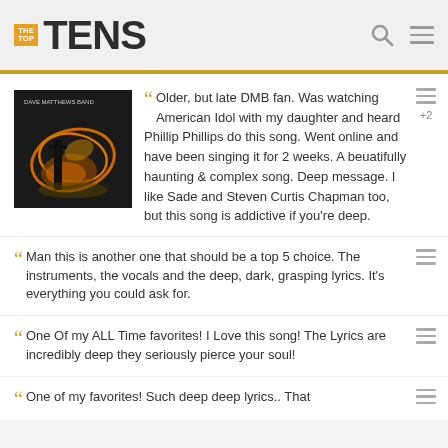THE TOP TENS
Older, but late DMB fan. Was watching American Idol with my daughter and heard Phillip Phillips do this song. Went online and have been singing it for 2 weeks. A beuatifully haunting & complex song. Deep message. I like Sade and Steven Curtis Chapman too, but this song is addictive if you're deep.
Man this is another one that should be a top 5 choice. The instruments, the vocals and the deep, dark, grasping lyrics. It's everything you could ask for.
One Of my ALL Time favorites! I Love this song! The Lyrics are incredibly deep they seriously pierce your soul!
One of my favorites! Such deep deep lyrics.. That